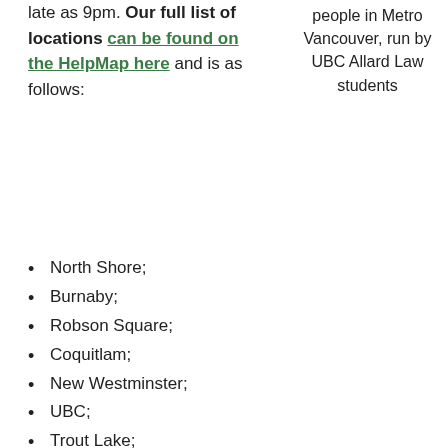late as 9pm. Our full list of locations can be found on the HelpMap here and is as follows:
people in Metro Vancouver, run by UBC Allard Law students
North Shore;
Burnaby;
Robson Square;
Coquitlam;
New Westminster;
UBC;
Trout Lake;
Surrey Gateway;
South Van;
Chinatown;
Richmond;